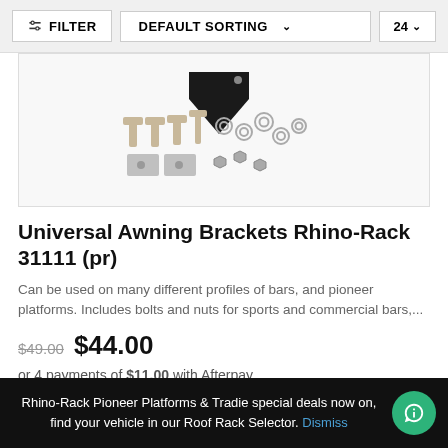FILTER   DEFAULT SORTING   24
[Figure (photo): Product photo showing awning brackets hardware: a black metal bracket piece, several bolts/screws (T-shaped), nuts, washers, and flat metal plates arranged on a white background.]
Universal Awning Brackets Rhino-Rack 31111 (pr)
Can be used on many different profiles of bars, and pioneer platforms. Includes bolts and nuts for sports and commercial bars,...
$49.00  $44.00
or 4 payments of $11.00 with Afterpay
ADD TO CART
Rhino-Rack Pioneer Platforms & Tradie special deals now on, find your vehicle in our Roof Rack Selector. Dismiss